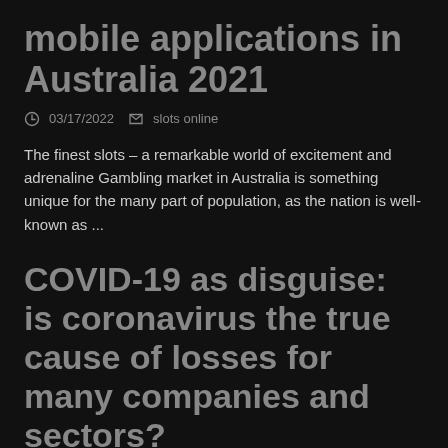mobile applications in Australia 2021
03/17/2022   slots online
The finest slots – a remarkable world of excitement and adrenaline Gambling market in Australia is something unique for the many part of population, as the nation is well-known as ...
COVID-19 as disguise: is coronavirus the true cause of losses for many companies and sectors?
03/31/2022   slots online